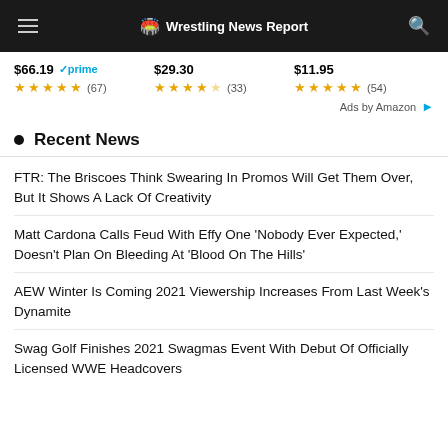Wrestling News Report
$66.19 prime ★★★★½ (67)   $29.30 ★★★★☆ (33)   $11.95 ★★★★½ (54)
Ads by Amazon
Recent News
FTR: The Briscoes Think Swearing In Promos Will Get Them Over, But It Shows A Lack Of Creativity
Matt Cardona Calls Feud With Effy One 'Nobody Ever Expected,' Doesn't Plan On Bleeding At 'Blood On The Hills'
AEW Winter Is Coming 2021 Viewership Increases From Last Week's Dynamite
Swag Golf Finishes 2021 Swagmas Event With Debut Of Officially Licensed WWE Headcovers